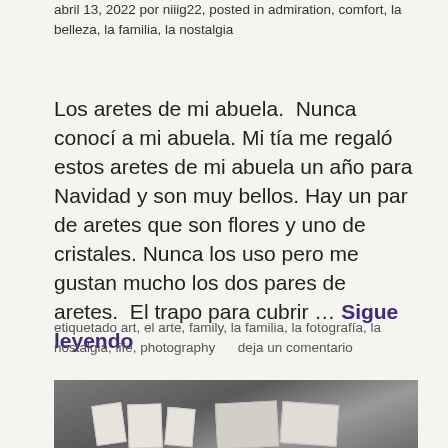abril 13, 2022 por niiig22, posted in admiration, comfort, la belleza, la familia, la nostalgia
Los aretes de mi abuela.  Nunca conocí a mi abuela.  Mi tía me regaló estos aretes de mi abuela un año para Navidad y son muy bellos. Hay un par de aretes que son flores y uno de cristales. Nunca los uso pero me gustan mucho los dos pares de aretes.  El trapo para cubrir … Sigue leyendo
etiquetado art, el arte, family, la familia, la fotografía, la nostalgia, life, photography      deja un comentario
[Figure (photo): Photo of envelopes and cards scattered on a gray textured surface]